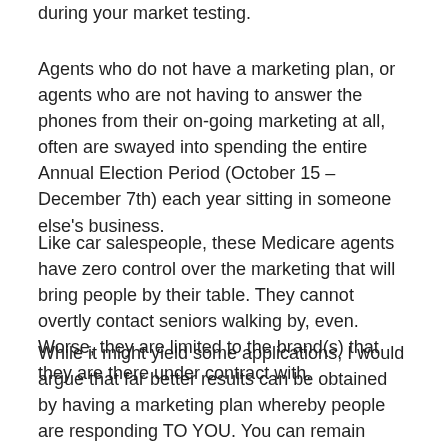during your market testing.
Agents who do not have a marketing plan, or agents who are not having to answer the phones from their on-going marketing at all, often are swayed into spending the entire Annual Election Period (October 15 – December 7th) each year sitting in someone else's business.
Like car salespeople, these Medicare agents have zero control over the marketing that will bring people by their table. They cannot overtly contact seniors walking by, even. Worse, they are limited to the brand(s) that they are there under contract with.
While it might yield some applications, I would argue that far better results can be obtained by having a marketing plan whereby people are responding TO YOU. You can remain independent. You can control the number of leads calling in. You can write what is truly in the best interest of